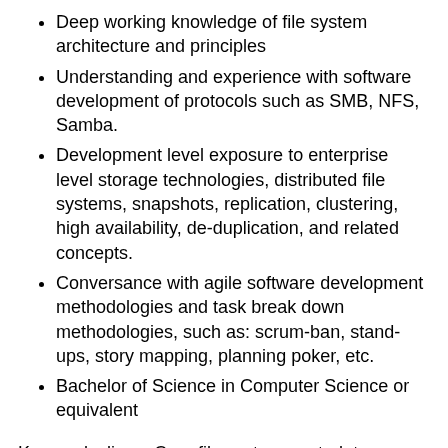Deep working knowledge of file system architecture and principles
Understanding and experience with software development of protocols such as SMB, NFS, Samba.
Development level exposure to enterprise level storage technologies, distributed file systems, snapshots, replication, clustering, high availability, de-duplication, and related concepts.
Conversance with agile software development methodologies and task break down methodologies, such as: scrum-ban, stand-ups, story mapping, planning poker, etc.
Bachelor of Science in Computer Science or equivalent
Keywords: linux, C++, file system, metadata, replication, distributed file system, block storage, NAS, SMB, Samba, NFS, POSIX, SDS, Object Storage, op-locks, ACLs, locking, versioning, snapshots, replication, caching